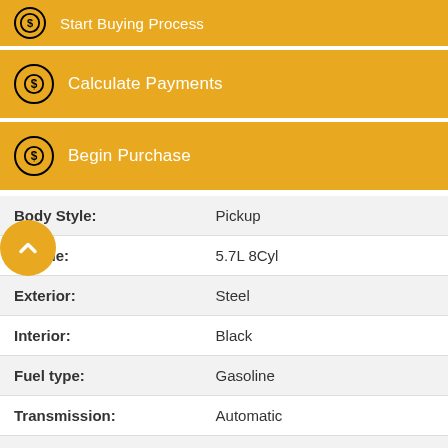Start Buying Process
Calculate Payments
Begin Purchase
| Field | Value |
| --- | --- |
| Body Style: | Pickup |
| Engine: | 5.7L 8Cyl |
| Exterior: | Steel |
| Interior: | Black |
| Fuel type: | Gasoline |
| Transmission: | Automatic |
| Drivetrain: | 4x4 |
| Stock #: | 46252AU |
| VIN: | 1C6SRFLT6LN199819 |
| Dealer Code: | 400 |